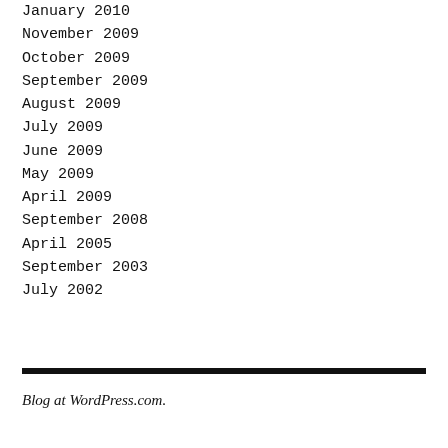January 2010
November 2009
October 2009
September 2009
August 2009
July 2009
June 2009
May 2009
April 2009
September 2008
April 2005
September 2003
July 2002
Blog at WordPress.com.